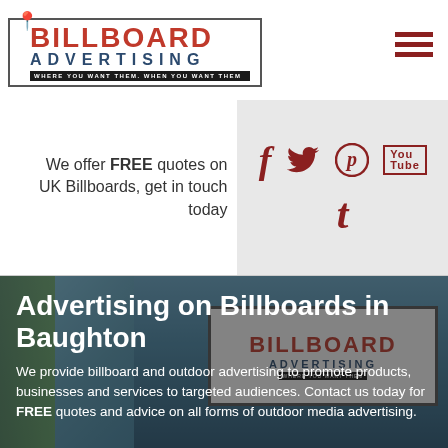[Figure (logo): Billboard Advertising logo with red pin icon, red BILLBOARD text, dark blue ADVERTISING text, black tagline bar 'WHERE YOU WANT THEM. WHEN YOU WANT THEM']
[Figure (logo): Hamburger menu icon with three dark red horizontal bars]
We offer FREE quotes on UK Billboards, get in touch today
[Figure (infographic): Social media icons: Facebook (f), Twitter (bird), Pinterest (P), YouTube (You Tube box), Tumblr (t) - all in dark red on grey background]
[Figure (photo): Photo of a Billboard Advertising sign/billboard outdoors with trees and sky in background, with dark overlay]
Advertising on Billboards in Baughton
We provide billboard and outdoor advertising to promote products, businesses and services to targeted audiences. Contact us today for FREE quotes and advice on all forms of outdoor media advertising.